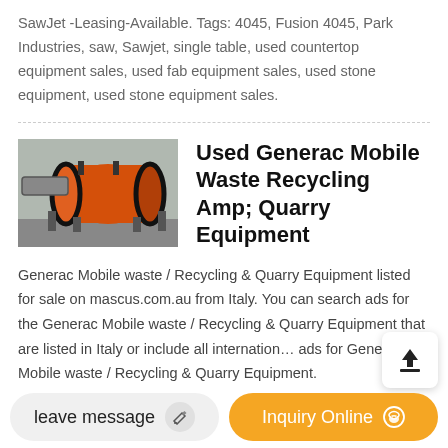SawJet -Leasing-Available. Tags: 4045, Fusion 4045, Park Industries, saw, Sawjet, single table, used countertop equipment sales, used fab equipment sales, used stone equipment, used stone equipment sales.
[Figure (photo): Thumbnail photo of industrial recycling/quarry equipment - an orange cylindrical drum machine]
Used Generac Mobile Waste Recycling Amp; Quarry Equipment
Generac Mobile waste / Recycling & Quarry Equipment listed for sale on mascus.com.au from Italy. You can search ads for the Generac Mobile waste / Recycling & Quarry Equipment that are listed in Italy or include all international ads for Generac Mobile waste / Recycling & Quarry Equipment.
leave message
Inquiry Online